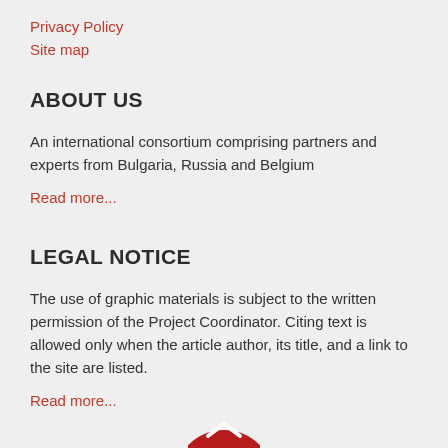Privacy Policy
Site map
ABOUT US
An international consortium comprising partners and experts from Bulgaria, Russia and Belgium
Read more...
LEGAL NOTICE
The use of graphic materials is subject to the written permission of the Project Coordinator. Citing text is allowed only when the article author, its title, and a link to the site are listed.
Read more...